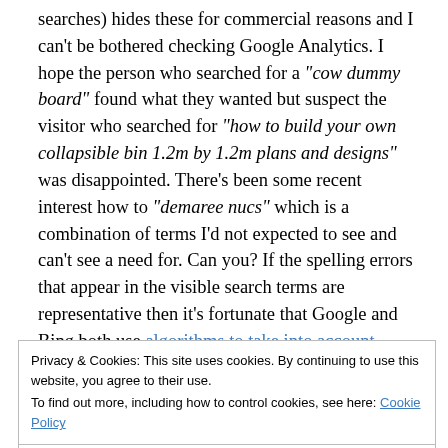searches) hides these for commercial reasons and I can't be bothered checking Google Analytics. I hope the person who searched for a "cow dummy board" found what they wanted but suspect the visitor who searched for "how to build your own collapsible bin 1.2m by 1.2m plans and designs" was disappointed. There's been some recent interest how to "demaree nucs" which is a combination of terms I'd not expected to see and can't see a need for. Can you? If the spelling errors that appear in the visible search terms are representative then it's fortunate that Google and Bing both use algorithms to take into account common typos. fat fingers and the spektackularly poor
Privacy & Cookies: This site uses cookies. By continuing to use this website, you agree to their use.
To find out more, including how to control cookies, see here: Cookie Policy
Close and accept
post (er, not) about "making your breath smell good" in